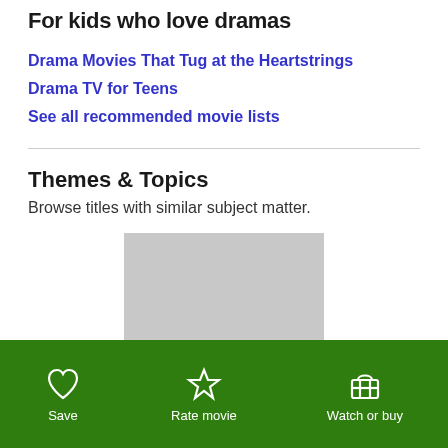For kids who love dramas
Drama Movies That Tug at the Heartstrings
Drama TV for Teens
See all recommended movie lists
Themes & Topics
Browse titles with similar subject matter.
[Figure (photo): Gray placeholder image with text overlay 'Brothers and Sisters']
Save | Rate movie | Watch or buy